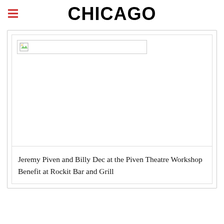CHICAGO
[Figure (photo): Broken image placeholder within a card layout on a Chicago magazine website article page]
Jeremy Piven and Billy Dec at the Piven Theatre Workshop Benefit at Rockit Bar and Grill